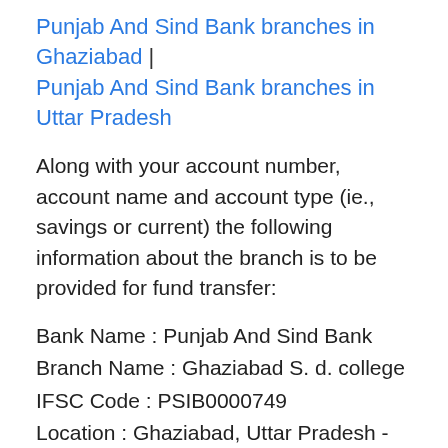Punjab And Sind Bank branches in Ghaziabad | Punjab And Sind Bank branches in Uttar Pradesh
Along with your account number, account name and account type (ie., savings or current) the following information about the branch is to be provided for fund transfer:
Bank Name : Punjab And Sind Bank
Branch Name : Ghaziabad S. d. college
IFSC Code : PSIB0000749
Location : Ghaziabad, Uttar Pradesh - View full address
To make NEFT or RTGS money transfer to Punjab And Sind Bank Ghaziabad S. d. college branch from any other bank in India, IFSC code is necessary. For